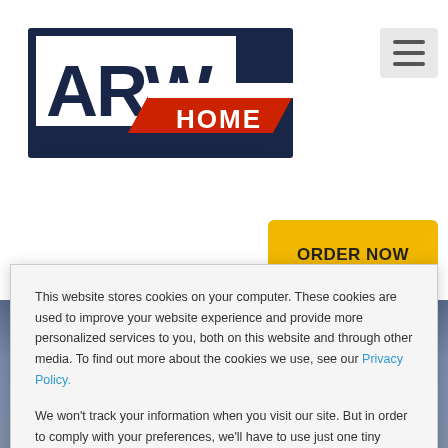[Figure (logo): ARW Home logo with 'Powered by: American Residential Warranty' text below]
climate classification. phery of the humid oldest month is January night is 25°F. In July, the warmest month, the average day time tempera... Philadelphia gets 47 inches of rain per year.
ORDER NOW
Temperature changes with the change in seasons and humidity means extended use of home systems like the central AC unit, electric system, and central heating system. If one of these
This website stores cookies on your computer. These cookies are used to improve your website experience and provide more personalized services to you, both on this website and through other media. To find out more about the cookies we use, see our Privacy Policy.
We won't track your information when you visit our site. But in order to comply with your preferences, we'll have to use just one tiny cookie so that you're not asked to make this choice again.
Accept